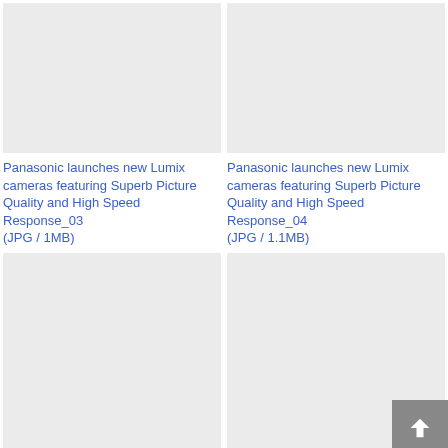[Figure (photo): Placeholder thumbnail image (light gray background) for Panasonic Lumix camera image 03]
Panasonic launches new Lumix cameras featuring Superb Picture Quality and High Speed Response_03
(JPG / 1MB)
[Figure (photo): Placeholder thumbnail image (light gray background) for Panasonic Lumix camera image 04]
Panasonic launches new Lumix cameras featuring Superb Picture Quality and High Speed Response_04
(JPG / 1.1MB)
[Figure (photo): Placeholder thumbnail image (light gray background) for additional Panasonic Lumix camera image, bottom-left]
[Figure (photo): Placeholder thumbnail image (light gray background) for additional Panasonic Lumix camera image, bottom-right]